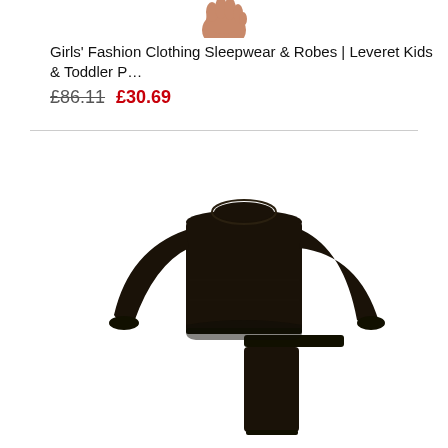[Figure (photo): Partial view of a child's hand/arm at top of page, cropped]
Girls' Fashion Clothing Sleepwear & Robes | Leveret Kids & Toddler P…
£86.11  £30.69
[Figure (photo): Black long-sleeve pajama set (top and pants) for kids, shown on white background]